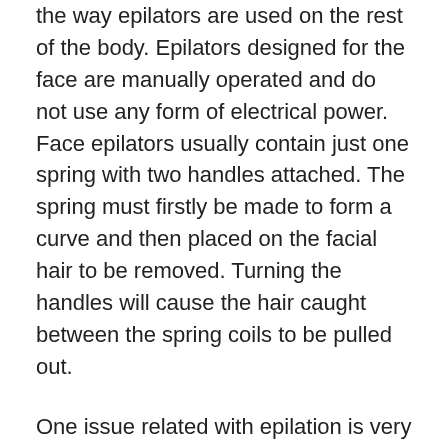the way epilators are used on the rest of the body. Epilators designed for the face are manually operated and do not use any form of electrical power. Face epilators usually contain just one spring with two handles attached. The spring must firstly be made to form a curve and then placed on the facial hair to be removed. Turning the handles will cause the hair caught between the spring coils to be pulled out.
One issue related with epilation is very similar to a problem experienced by those who wax or shave. If your hair is brittle, it may simply snap rather than be pulled out. Hair that snaps off will look very similar to face stubble experienced by males due to shaving, but unlike face stubble, will not be concentrated in one area as brittle hairs may not